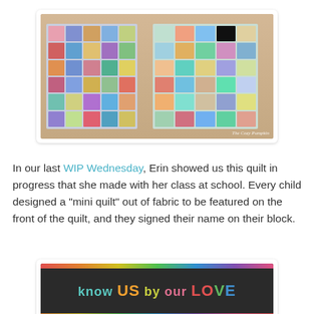[Figure (photo): Two colorful patchwork quilts hanging on a wooden fence outdoors. Each quilt has many small fabric squares arranged in a grid. Watermark reads 'The Cozy Pumpkin'.]
In our last WIP Wednesday, Erin showed us this quilt in progress that she made with her class at school. Every child designed a "mini quilt" out of fabric to be featured on the front of the quilt, and they signed their name on their block.
[Figure (photo): A dark grey quilt with colorful text reading 'know US by our LOVE' in multicolored letters, with a rainbow striped border at the top and bottom.]